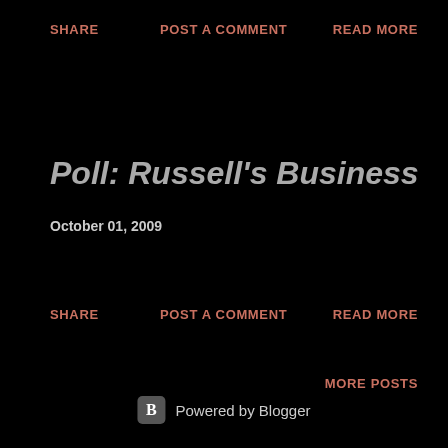SHARE    POST A COMMENT    READ MORE
Poll: Russell's Business
October 01, 2009
SHARE    POST A COMMENT    READ MORE
MORE POSTS
Powered by Blogger